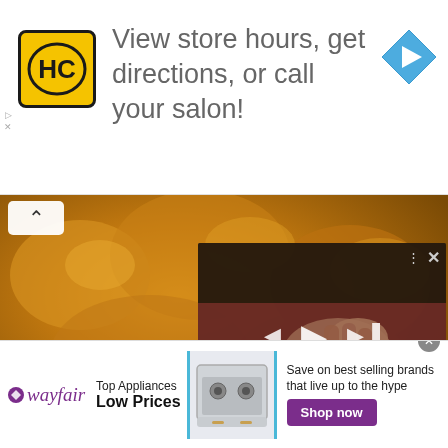[Figure (screenshot): Top ad banner: HC (Hair Club) logo in yellow square, text 'View store hours, get directions, or call your salon!', blue diamond navigation arrow icon on right. Small ad indicator icons on left.]
[Figure (photo): Food photo background showing golden macaroni and cheese close-up, with collapse chevron button at top left.]
Grandma's Macaron
Mr. Food
[Figure (screenshot): Video player overlay showing hands handling food on a cutting board, with Mr. Food Test Kitchen logo badge. Controls: back, play, forward buttons; mute icon, progress bar with blue dot, timestamp showing 00:11:50 00:00, fullscreen button. Three-dot menu and X close button at top right.]
[Figure (screenshot): Wayfair advertisement banner at bottom: Wayfair logo with purple star, 'Top Appliances Low Prices' text, appliance image, 'Save on best selling brands that live up to the hype' text, and 'Shop now' purple button. Close circle X at top right.]